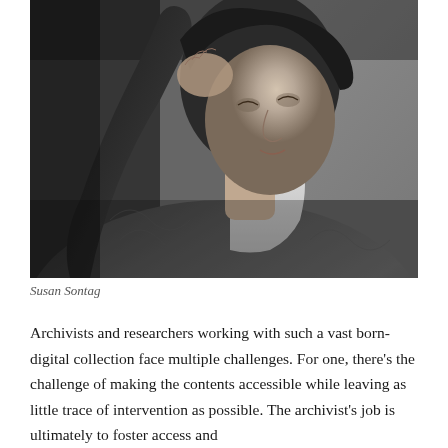[Figure (photo): Black and white portrait photograph of Susan Sontag, showing her face and upper body, wearing a knit sweater over a collared shirt, hand raised near her head, looking slightly upward.]
Susan Sontag
Archivists and researchers working with such a vast born-digital collection face multiple challenges. For one, there's the challenge of making the contents accessible while leaving as little trace of intervention as possible. The archivist's job is ultimately to foster access and